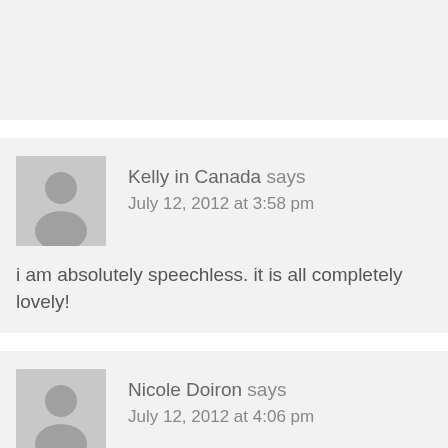Kelly in Canada says
July 12, 2012 at 3:58 pm
i am absolutely speechless. it is all completely lovely!
Nicole Doiron says
July 12, 2012 at 4:06 pm
Awww… these new products all make me smile unco